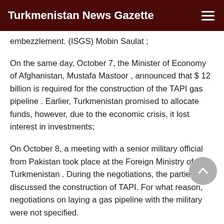Turkmenistan News Gazette
embezzlement. (ISGS) Mobin Saulat ;
On the same day, October 7, the Minister of Economy of Afghanistan, Mustafa Mastoor , announced that $ 12 billion is required for the construction of the TAPI gas pipeline . Earlier, Turkmenistan promised to allocate funds, however, due to the economic crisis, it lost interest in investments;
On October 8, a meeting with a senior military official from Pakistan took place at the Foreign Ministry of Turkmenistan . During the negotiations, the parties discussed the construction of TAPI. For what reason, negotiations on laying a gas pipeline with the military were not specified.
On October 13, it became known that a delegation from Turkmenistan will leave for Pakistan to resolve issues with delays in the construction of the pipeline.